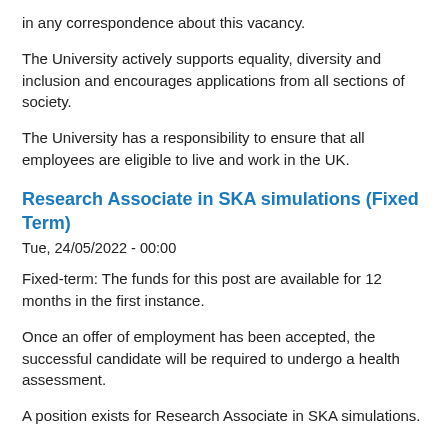in any correspondence about this vacancy.
The University actively supports equality, diversity and inclusion and encourages applications from all sections of society.
The University has a responsibility to ensure that all employees are eligible to live and work in the UK.
Research Associate in SKA simulations (Fixed Term)
Tue, 24/05/2022 - 00:00
Fixed-term: The funds for this post are available for 12 months in the first instance.
Once an offer of employment has been accepted, the successful candidate will be required to undergo a health assessment.
A position exists for Research Associate in SKA simulations.